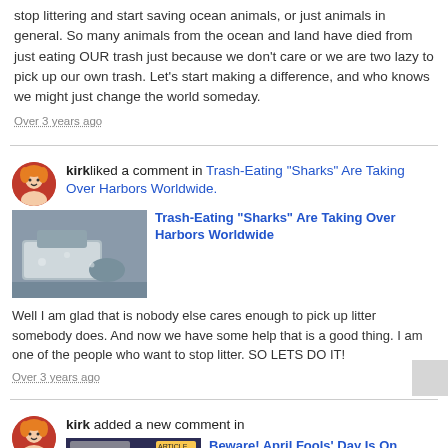stop littering and start saving ocean animals, or just animals in general. So many animals from the ocean and land have died from just eating OUR trash just because we don't care or we are two lazy to pick up our own trash. Let's start making a difference, and who knows we might just change the world someday.
Over 3 years ago
kirk liked a comment in Trash-Eating "Sharks" Are Taking Over Harbors Worldwide.
[Figure (photo): Photo of a large boxy trash-collecting machine floating in water with debris around it]
Trash-Eating "Sharks" Are Taking Over Harbors Worldwide
Well I am glad that is nobody else cares enough to pick up litter somebody does. And now we have some help that is a good thing. I am one of the people who want to stop litter. SO LETS DO IT!
Over 3 years ago
kirk added a new comment in
[Figure (photo): Product image of a Jabra Speaker Traveler bluetooth speaker that looks like a sneaker shoe]
Beware! April Fools' Day Is On Monday
So I pulled an awesome prank on my sister while she was still in bed, I took a cup